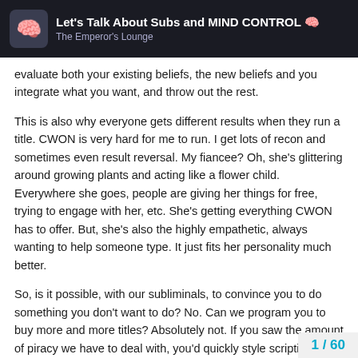Let's Talk About Subs and MIND CONTROL 🧠 — The Emperor's Lounge
evaluate both your existing beliefs, the new beliefs and you integrate what you want, and throw out the rest.
This is also why everyone gets different results when they run a title. CWON is very hard for me to run. I get lots of recon and sometimes even result reversal. My fiancee? Oh, she's glittering around growing plants and acting like a flower child. Everywhere she goes, people are giving her things for free, trying to engage with her, etc. She's getting everything CWON has to offer. But, she's also the highly empathetic, always wanting to help someone type. It just fits her personality much better.
So, is it possible, with our subliminals, to convince you to do something you don't want to do? No. Can we program you to buy more and more titles? Absolutely not. If you saw the amount of piracy we have to deal with, you'd quickly style scripting is essentially use
1 / 60